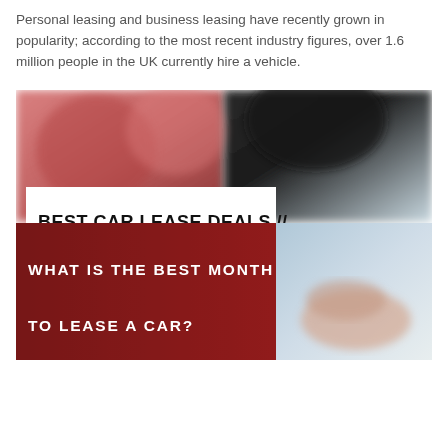Personal leasing and business leasing have recently grown in popularity; according to the most recent industry figures, over 1.6 million people in the UK currently hire a vehicle.
[Figure (photo): Composite image of car lease deals. Top portion shows blurred red and dark automotive background. A white banner overlaid reads 'BEST CAR LEASE DEALS //' in bold black text. Bottom portion shows a dark red background on the left and a person's hand on a light blue surface on the right. White bold uppercase text reads 'WHAT IS THE BEST MONTH TO LEASE A CAR?']